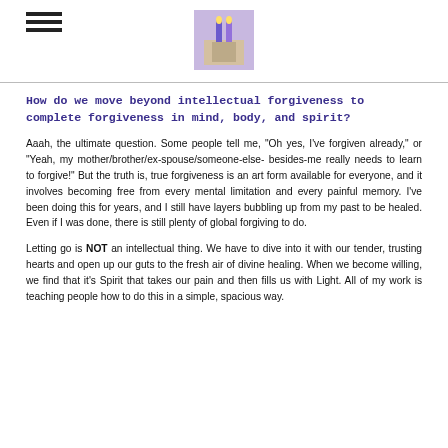[Figure (logo): Small logo image showing a candle or similar object in purple/lavender tones]
How do we move beyond intellectual forgiveness to complete forgiveness in mind, body, and spirit?
Aaah, the ultimate question. Some people tell me, "Oh yes, I've forgiven already," or "Yeah, my mother/brother/ex-spouse/someone-else-besides-me really needs to learn to forgive!" But the truth is, true forgiveness is an art form available for everyone, and it involves becoming free from every mental limitation and every painful memory. I've been doing this for years, and I still have layers bubbling up from my past to be healed. Even if I was done, there is still plenty of global forgiving to do.
Letting go is NOT an intellectual thing. We have to dive into it with our tender, trusting hearts and open up our guts to the fresh air of divine healing. When we become willing, we find that it's Spirit that takes our pain and then fills us with Light. All of my work is teaching people how to do this in a simple, spacious way.